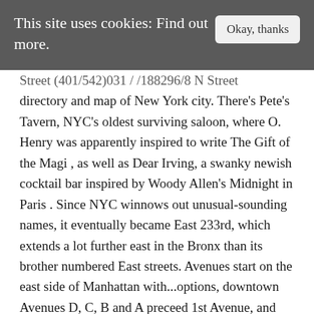This site uses cookies: Find out more.    Okay, thanks
Street (401/542)031 / /188296/8 N Street directory and map of New York city. There's Pete's Tavern, NYC's oldest surviving saloon, where O. Henry was apparently inspired to write The Gift of the Magi , as well as Dear Irving, a swanky newish cocktail bar inspired by Woody Allen's Midnight in Paris . Since NYC winnows out unusual-sounding names, it eventually became East 233rd, which extends a lot further east in the Bronx than its brother numbered East streets. Avenues start on the east side of Manhattan with...options, downtown Avenues D, C, B and A preceed 1st Avenue, and Avenue and 3rd